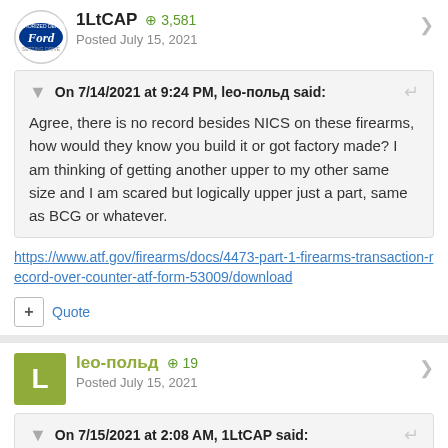1LtCAP  +3,581
Posted July 15, 2021
On 7/14/2021 at 9:24 PM, leo-польд said:
Agree, there is no record besides NICS on these firearms, how would they know you build it or got factory made? I am thinking of getting another upper to my other same size and I am scared but logically upper just a part, same as BCG or whatever.
https://www.atf.gov/firearms/docs/4473-part-1-firearms-transaction-record-over-counter-atf-form-53009/download
Quote
leo-польд  +19
Posted July 15, 2021
On 7/15/2021 at 2:08 AM, 1LtCAP said: